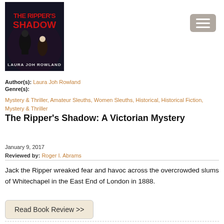[Figure (illustration): Book cover of 'The Ripper's Shadow' by Laura Joh Rowland. Dark background with red stylized title text and shadowy figures.]
Author(s): Laura Joh Rowland
Genre(s):
Mystery & Thriller, Amateur Sleuths, Women Sleuths, Historical, Historical Fiction, Mystery & Thriller
The Ripper's Shadow: A Victorian Mystery
January 9, 2017
Reviewed by: Roger I. Abrams
Jack the Ripper wreaked fear and havoc across the overcrowded slums of Whitechapel in the East End of London in 1888.
Read Book Review >>